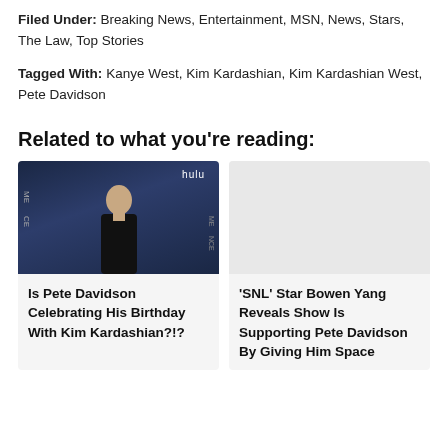Filed Under: Breaking News, Entertainment, MSN, News, Stars, The Law, Top Stories
Tagged With: Kanye West, Kim Kardashian, Kim Kardashian West, Pete Davidson
Related to what you're reading:
[Figure (photo): Photo of Pete Davidson at a Hulu event, dark background]
Is Pete Davidson Celebrating His Birthday With Kim Kardashian?!?
[Figure (photo): Light gray placeholder image for SNL article]
'SNL' Star Bowen Yang Reveals Show Is Supporting Pete Davidson By Giving Him Space